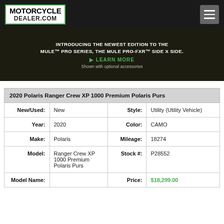MOTORCYCLEDEALER.COM
[Figure (infographic): Kawasaki Mule Pro-FXR advertisement banner: INTRODUCING THE NEWEST EDITION TO THE MULE™ PRO SERIES, THE MULE PRO-FXR™ SIDE X SIDE. ▶ LEARN MORE. Shown with optional accessories.]
| 2020 Polaris Ranger Crew XP 1000 Premium Polaris Purs |
| --- |
| New/Used: | New | Style: | Utility (Utility Vehicle) |
| Year: | 2020 | Color: | CAMO |
| Make: | Polaris | Mileage: | 18274 |
| Model: | Ranger Crew XP 1000 Premium Polaris Purs | Stock #: | P28552 |
| Model Name: |  | Price: | $18,299.00 |